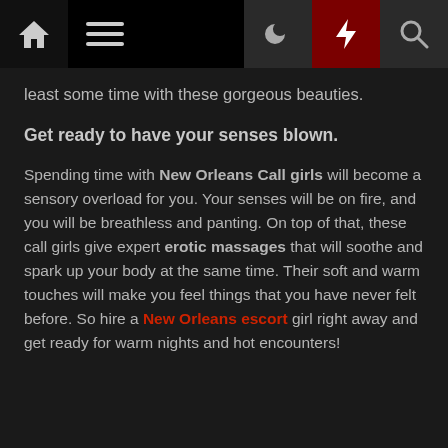Navigation bar with home, menu, moon, lightning, and search icons
least some time with these gorgeous beauties.
Get ready to have your senses blown.
Spending time with New Orleans Call girls will become a sensory overload for you. Your senses will be on fire, and you will be breathless and panting. On top of that, these call girls give expert erotic massages that will soothe and spark up your body at the same time. Their soft and warm touches will make you feel things that you have never felt before. So hire a New Orleans escort girl right away and get ready for warm nights and hot encounters!